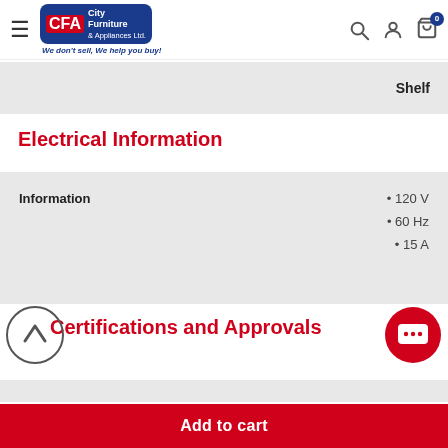[Figure (logo): City Furniture & Appliances Ltd. logo with tagline 'We don't sell, We help you buy!']
|  |  |
| --- | --- |
| Shelf |  |
Electrical Information
| Information |  |
| --- | --- |
| Information | • 120 V
• 60 Hz
• 15 A |
Certifications and Approvals
Add to cart